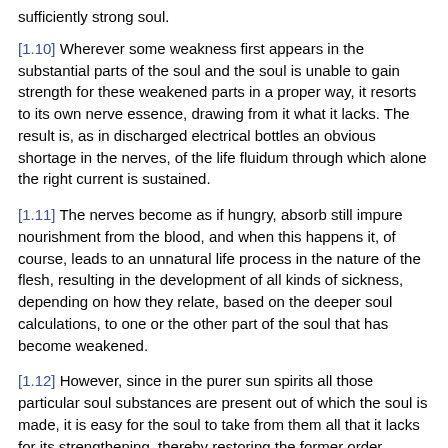sufficiently strong soul.
[1.10] Wherever some weakness first appears in the substantial parts of the soul and the soul is unable to gain strength for these weakened parts in a proper way, it resorts to its own nerve essence, drawing from it what it lacks. The result is, as in discharged electrical bottles an obvious shortage in the nerves, of the life fluidum through which alone the right current is sustained.
[1.11] The nerves become as if hungry, absorb still impure nourishment from the blood, and when this happens it, of course, leads to an unnatural life process in the nature of the flesh, resulting in the development of all kinds of sickness, depending on how they relate, based on the deeper soul calculations, to one or the other part of the soul that has become weakened.
[1.12] However, since in the purer sun spirits all those particular soul substances are present out of which the soul is made, it is easy for the soul to take from them all that it lacks for its strengthening, thereby restoring the former order